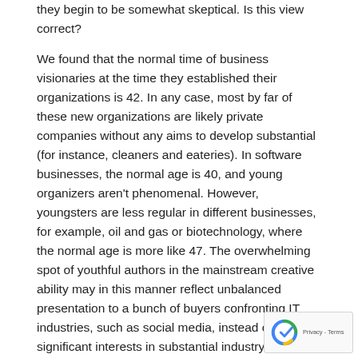they begin to be somewhat skeptical. Is this view correct?
We found that the normal time of business visionaries at the time they established their organizations is 42. In any case, most by far of these new organizations are likely private companies without any aims to develop substantial (for instance, cleaners and eateries). In software businesses, the normal age is 40, and young organizers aren't phenomenal. However, youngsters are less regular in different businesses, for example, oil and gas or biotechnology, where the normal age is more like 47. The overwhelming spot of youthful authors in the mainstream creative ability may in this manner reflect unbalanced presentation to a bunch of buyers confronting IT industries, such as social media, instead of similarly significant interests in substantial industry or business-to-business sectors.
But, shouldn't something be said about the most successful startups? Is it possible that organizations started by young business visionaries are particularly successful? Among the